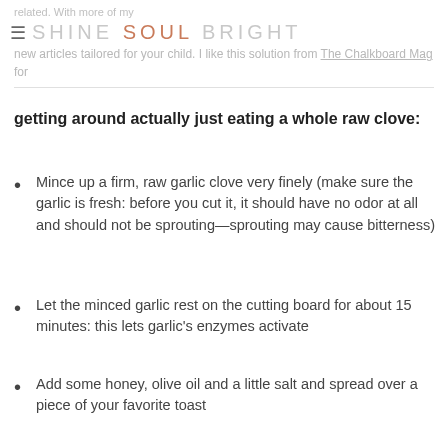SHINE SOUL BRIGHT
new articles tailored for your child. I like this solution from The Chalkboard Mag for getting around actually just eating a whole raw clove:
Mince up a firm, raw garlic clove very finely (make sure the garlic is fresh: before you cut it, it should have no odor at all and should not be sprouting—sprouting may cause bitterness)
Let the minced garlic rest on the cutting board for about 15 minutes: this lets garlic's enzymes activate
Add some honey, olive oil and a little salt and spread over a piece of your favorite toast
Enjoy with a cup of soothing, steaming tea!